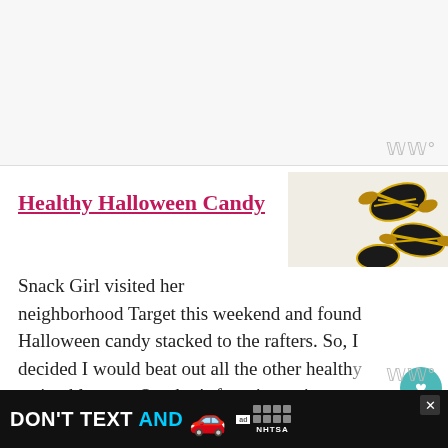[Figure (other): Top banner advertisement area, grey background with WW logo watermark in bottom right corner]
Healthy Halloween Candy
[Figure (photo): Photo of Halloween candy - wrapped black and yellow/gold candies on a white background]
Snack Girl visited her neighborhood Target this weekend and found Halloween candy stacked to the rafters. So, I decided I would beat out all the other healthy eating blogs on October's favorite topic - ca...
[Figure (other): Social widget with teal heart button showing count of 1 and a share button]
[Figure (other): Bottom advertisement banner: DON'T TEXT AND [car emoji] text with NHTSA logo and close button]